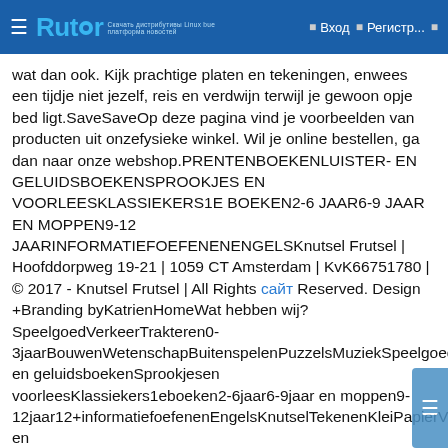Rutor — Вход — Регистр...
wat dan ook. Kijk prachtige platen en tekeningen, enwees een tijdje niet jezelf, reis en verdwijn terwijl je gewoon opje bed ligt.SaveSaveOp deze pagina vind je voorbeelden van producten uit onzefysieke winkel. Wil je online bestellen, ga dan naar onze webshop.PRENTENBOEKENLUISTER- EN GELUIDSBOEKENSPROOKJES EN VOORLEESKLASSIEKERS1E BOEKEN2-6 JAAR6-9 JAAR EN MOPPEN9-12 JAARINFORMATIEFOEFENENENGELSKnutsel Frutsel | Hoofddorpweg 19-21 | 1059 CT Amsterdam | KvK66751780 | © 2017 - Knutsel Frutsel | All Rights сайт Reserved. Design +Branding byKatrienHomeWat hebben wij?SpeelgoedVerkeerTrakteren0-3jaarBouwenWetenschapBuitenspelenPuzzelsMuziekSpeelgoedDiversVerkleedBeestenboelSpellenBoekenPrentenboekenLuister-en geluidsboekenSprookjesen voorleesKlassiekers1eboeken2-6jaar6-9jaar en moppen9-12jaar12+informatiefoefenenEngelsKnutselTekenenKleiPapierVerfLijmTextielKleur-en knutselboekenGlitterFrutselsDecoreren/stickersKnutselsetjesGereedschapHebbenSchriftenKaartenrugzakken...